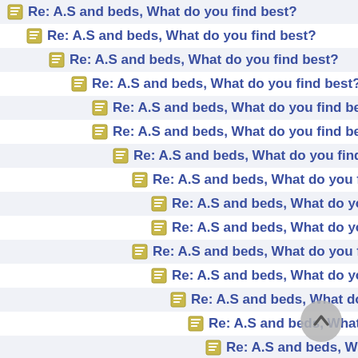Re: A.S and beds, What do you find best?
Re: A.S and beds, What do you find best?
Re: A.S and beds, What do you find best?
Re: A.S and beds, What do you find best?
Re: A.S and beds, What do you find best?
Re: A.S and beds, What do you find best?
Re: A.S and beds, What do you find best?
Re: A.S and beds, What do you find best?
Re: A.S and beds, What do you find best?
Re: A.S and beds, What do you find best?
Re: A.S and beds, What do you find best?
Re: A.S and beds, What do you find best?
Re: A.S and beds, What do you find best?
Re: A.S and beds, What do you find best?
Re: A.S and beds, What do you find best?